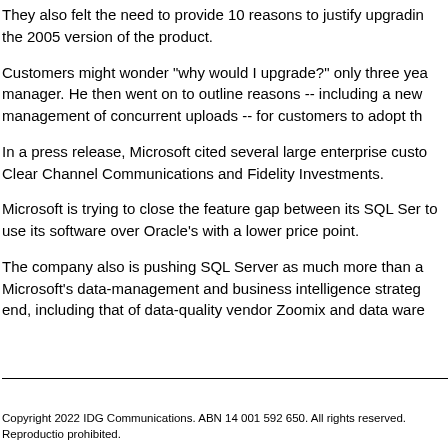They also felt the need to provide 10 reasons to justify upgrading the 2005 version of the product.
Customers might wonder "why would I upgrade?" only three years after the manager. He then went on to outline reasons -- including a new management of concurrent uploads -- for customers to adopt th...
In a press release, Microsoft cited several large enterprise customers including Clear Channel Communications and Fidelity Investments.
Microsoft is trying to close the feature gap between its SQL Server and to use its software over Oracle's with a lower price point.
The company also is pushing SQL Server as much more than a database. Microsoft's data-management and business intelligence strategy end, including that of data-quality vendor Zoomix and data ware...
Copyright 2022 IDG Communications. ABN 14 001 592 650. All rights reserved. Reproduction prohibited.